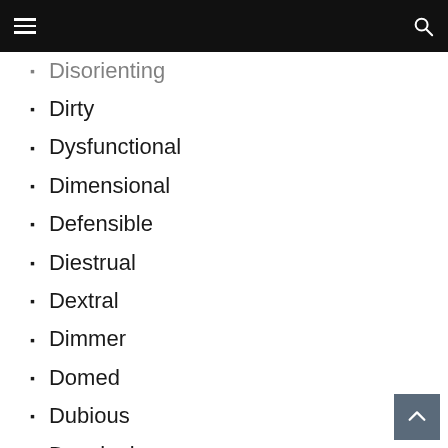Disorienting
Dirty
Dysfunctional
Dimensional
Defensible
Diestrual
Dextral
Dimmer
Domed
Dubious
Developing